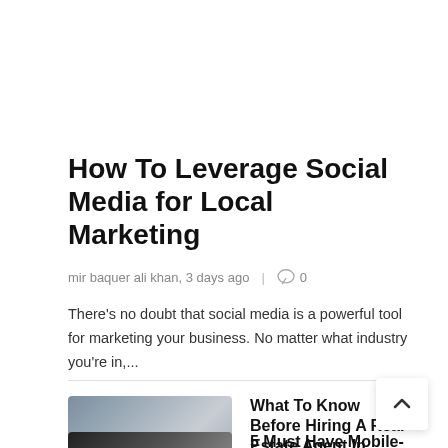How To Leverage Social Media for Local Marketing
mir baquer ali khan, 3 days ago  |  💬 0
There's no doubt that social media is a powerful tool for marketing your business. No matter what industry you're in,...
What To Know Before Hiring A Real Estate Agent In Kenya
💬 0
5 Must Have Mobile-Banking App